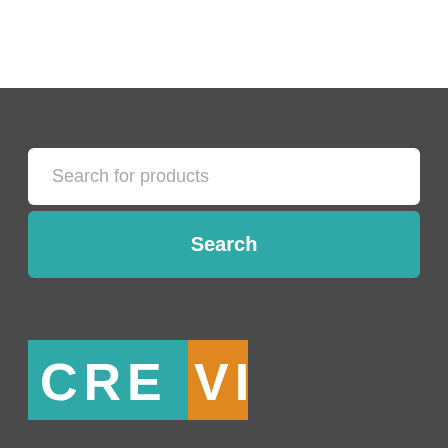Search for products
Search
[Figure (logo): CREVIS logo with teal background for CRE and orange background for VIS letters, white bold text]